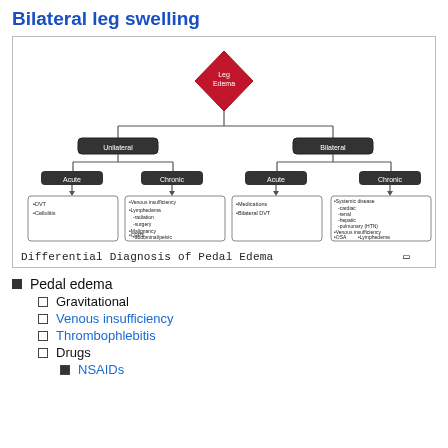Bilateral leg swelling
[Figure (flowchart): Differential Diagnosis of Pedal Edema flowchart. Top node: Leg Edema (red diamond). Splits into Unilateral and Bilateral. Unilateral splits into Acute (DVT, Cellulitis) and Chronic (Venous insufficiency, Lymphedema -radiation -surgery, Malignancy -abdominal/pelvic, CRPS). Bilateral splits into Acute (Medications, Bilateral DVT) and Chronic (Systemic disease -cardiac -renal -hepatic -pulmonary (HTN), Venous insufficiency, OSA, Lymphedema, Lipedema).]
Differential Diagnosis of Pedal Edema
Pedal edema
Gravitational
Venous insufficiency
Thrombophlebitis
Drugs
NSAIDs